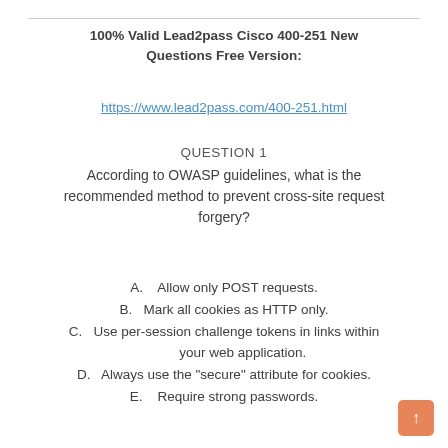100% Valid Lead2pass Cisco 400-251 New Questions Free Version:
https://www.lead2pass.com/400-251.html
QUESTION 1
According to OWASP guidelines, what is the recommended method to prevent cross-site request forgery?
A.    Allow only POST requests.
B.    Mark all cookies as HTTP only.
C.    Use per-session challenge tokens in links within your web application.
D.    Always use the "secure" attribute for cookies.
E.    Require strong passwords.